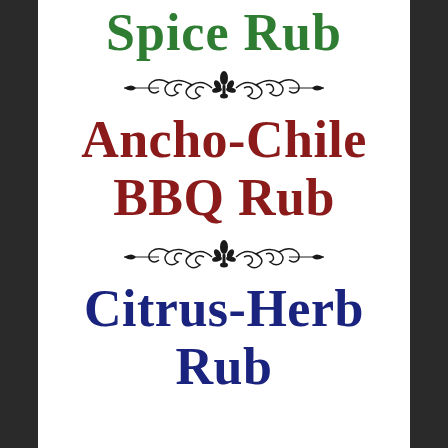Spice Rub
[Figure (illustration): Decorative ornamental divider with fleur-de-lis and scrollwork]
Ancho-Chile BBQ Rub
[Figure (illustration): Decorative ornamental divider with fleur-de-lis and scrollwork]
Citrus-Herb Rub